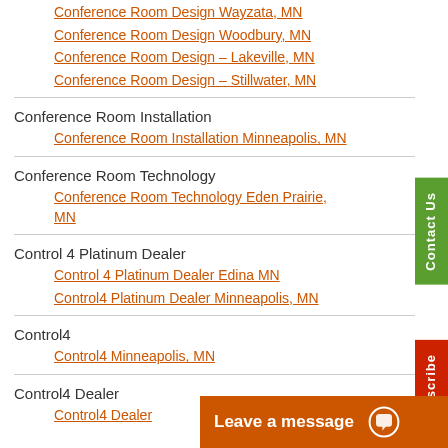Conference Room Design Wayzata, MN
Conference Room Design Woodbury, MN
Conference Room Design – Lakeville, MN
Conference Room Design – Stillwater, MN
Conference Room Installation
Conference Room Installation Minneapolis, MN
Conference Room Technology
Conference Room Technology Eden Prairie, MN
Control 4 Platinum Dealer
Control 4 Platinum Dealer Edina MN
Control4 Platinum Dealer Minneapolis, MN
Control4
Control4 Minneapolis, MN
Control4 Dealer
Control4 Dealer
Leave a message